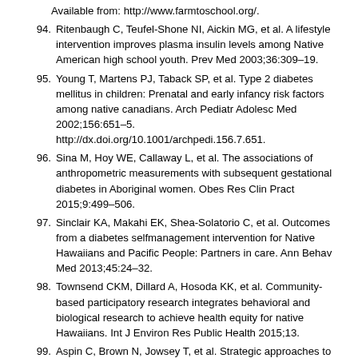Available from: http://www.farmtoschool.org/.
94. Ritenbaugh C, Teufel-Shone NI, Aickin MG, et al. A lifestyle intervention improves plasma insulin levels among Native American high school youth. Prev Med 2003;36:309–19.
95. Young T, Martens PJ, Taback SP, et al. Type 2 diabetes mellitus in children: Prenatal and early infancy risk factors among native canadians. Arch Pediatr Adolesc Med 2002;156:651–5. http://dx.doi.org/10.1001/archpedi.156.7.651.
96. Sina M, Hoy WE, Callaway L, et al. The associations of anthropometric measurements with subsequent gestational diabetes in Aboriginal women. Obes Res Clin Pract 2015;9:499–506.
97. Sinclair KA, Makahi EK, Shea-Solatorio C, et al. Outcomes from a diabetes selfmanagement intervention for Native Hawaiians and Pacific People: Partners in care. Ann Behav Med 2013;45:24–32.
98. Townsend CKM, Dillard A, Hosoda KK, et al. Community-based participatory research integrates behavioral and biological research to achieve health equity for native Hawaiians. Int J Environ Res Public Health 2015;13.
99. Aspin C, Brown N, Jowsey T, et al. Strategic approaches to enhanced health service delivery for Aboriginal and Torres Strait Islander people with chronic illness: A qualitative study. BMC Health Serv Res 2012;12:143.
100. Sherifali D, Shea N, Brooks S. Exploring the experiences of